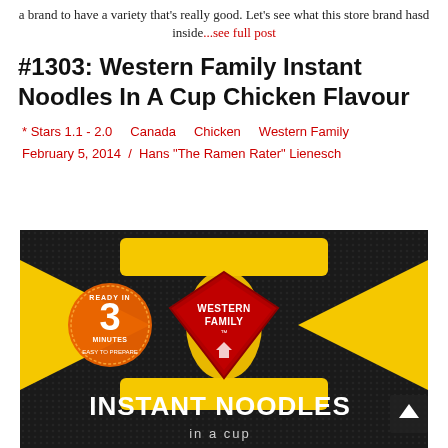a brand to have a variety that's really good. Let's see what this store brand hasd inside...see full post
#1303: Western Family Instant Noodles In A Cup Chicken Flavour
* Stars 1.1 - 2.0   Canada   Chicken   Western Family
February 5, 2014  /  Hans "The Ramen Rater" Lienesch
[Figure (photo): Photo of Western Family Instant Noodles In A Cup product packaging. The cup noodle package is yellow and black with a red Western Family logo/crest in the center, an orange circle badge saying 'Ready in 3 Minutes - Easy to Prepare', and large white text at the bottom reading 'Instant Noodles in a cup'. Background is dark/black textured surface.]